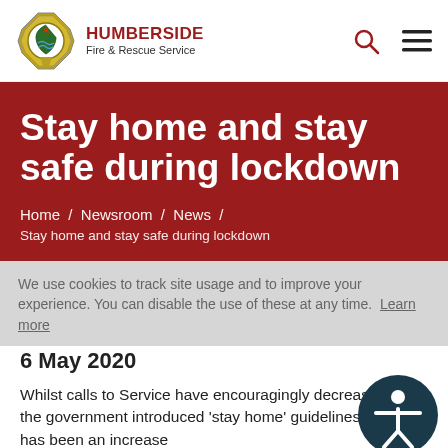[Figure (logo): Humberside Fire & Rescue Service badge/crest logo in gold/green/red, octagonal shape with flame design]
HUMBERSIDE Fire & Rescue Service
Stay home and stay safe during lockdown
Home / Newsroom / News / Stay home and stay safe during lockdown
We use cookies to track site usage and to improve your experience. You can disable the use of these at any time. Learn more
6 May 2020
Whilst calls to Service have encouragingly decreased since the government introduced 'stay home' guidelines, there has been an increase